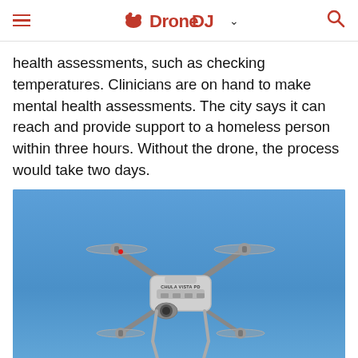DroneDJ
health assessments, such as checking temperatures. Clinicians are on hand to make mental health assessments. The city says it can reach and provide support to a homeless person within three hours. Without the drone, the process would take two days.
[Figure (photo): A DJI-style drone labeled 'CHULA VISTA PD' photographed from below against a blue sky, showing four rotors and landing gear extended.]